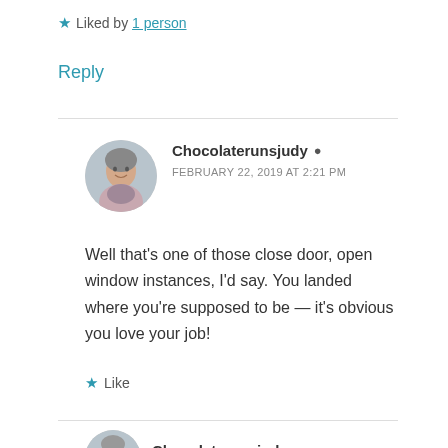★ Liked by 1 person
Reply
Chocolaterunsjudy 🧑 FEBRUARY 22, 2019 AT 2:21 PM
Well that's one of those close door, open window instances, I'd say. You landed where you're supposed to be — it's obvious you love your job!
★ Like
Chocolaterunsjudy 🧑